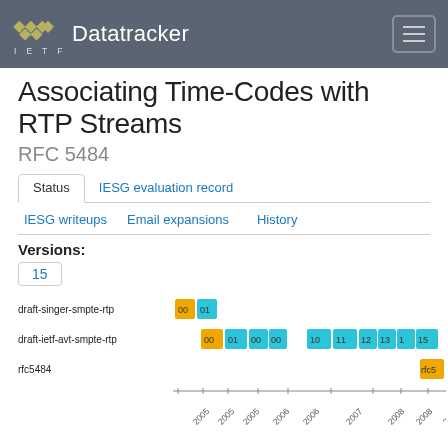IETF Datatracker
Associating Time-Codes with RTP Streams
RFC 5484
Status | IESG evaluation record | IESG writeups | Email expansions | History
Versions:
15
[Figure (other): Version timeline showing draft-singer-smpte-rtp (versions 00, 01), draft-ietf-avt-smpte-rtp (versions 00, 01, 00, 00, 10, 11, 12, 13, 14, 15), and rfc5484, plotted along a time axis from 2005 to 2008. Orange blocks indicate certain versions, cyan/blue blocks indicate others.]